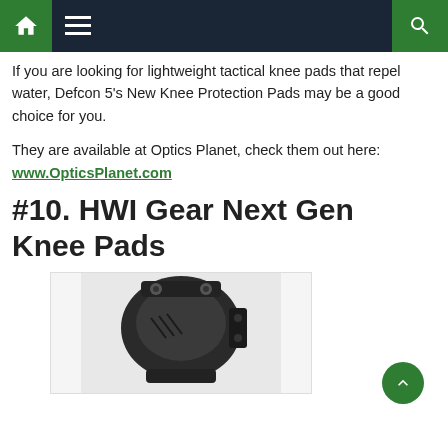Navigation bar with home, menu, and search icons
If you are looking for lightweight tactical knee pads that repel water, Defcon 5’s New Knee Protection Pads may be a good choice for you.
They are available at Optics Planet, check them out here: www.OpticsPlanet.com
#10. HWI Gear Next Gen Knee Pads
[Figure (photo): Photo of HWI Gear Next Gen Knee Pads - a black tactical knee pad device shown against a light background]